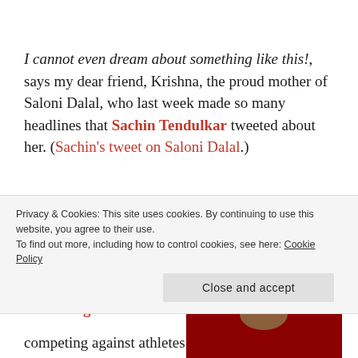I cannot even dream about something like this!, says my dear friend, Krishna, the proud mother of Saloni Dalal, who last week made so many headlines that Sachin Tendulkar tweeted about her. (Sachin's tweet on Saloni Dalal.)
For those still unaware of Saloni's claim to fame; Saloni won a bronze medal in the 200mts breaststroke swimming at the National
[Figure (photo): Photo of a young woman (Saloni Dalal) with dark hair, looking down, against a light blue background with pink circular shapes]
Privacy & Cookies: This site uses cookies. By continuing to use this website, you agree to their use.
To find out more, including how to control cookies, see here: Cookie Policy
Close and accept
competing against athletes